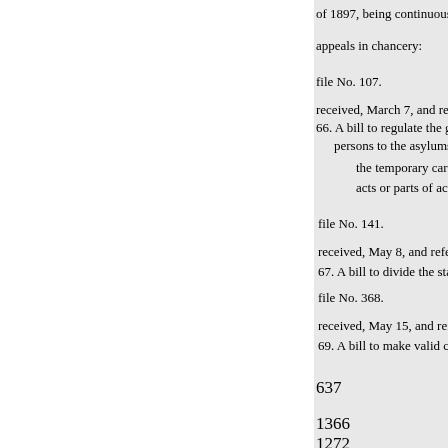of 1897, being continuous s
appeals in chancery:
file No. 107.
received, March 7, and referred t
66. A bill to regulate the granting
persons to the asylums and a
the temporary care and trans
acts or parts of acts inconsis
file No. 141.
received, May 8, and referred to
67. A bill to divide the state of M
file No. 368.
received, May 15, and referred to
69. A bill to make valid certain a
637
1366
1272
1418